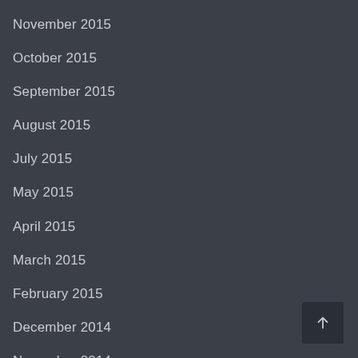November 2015
October 2015
September 2015
August 2015
July 2015
May 2015
April 2015
March 2015
February 2015
December 2014
November 2014
October 2014